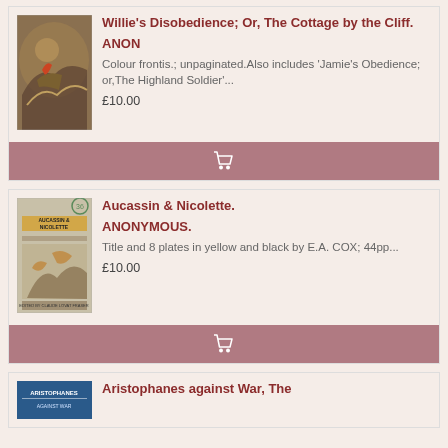[Figure (illustration): Book cover image for Willie's Disobedience showing a dramatic stormy sea scene with a figure in a boat]
Willie's Disobedience; Or, The Cottage by the Cliff.
ANON
Colour frontis.; unpaginated.Also includes 'Jamie's Obedience; or,The Highland Soldier'...
£10.00
[Figure (illustration): Book cover image for Aucassin & Nicolette showing an illustrated cover with figures]
Aucassin & Nicolette.
ANONYMOUS.
Title and 8 plates in yellow and black by E.A. COX; 44pp...
£10.00
[Figure (illustration): Book cover for Aristophanes against War showing a blue cover with text]
Aristophanes against War, The